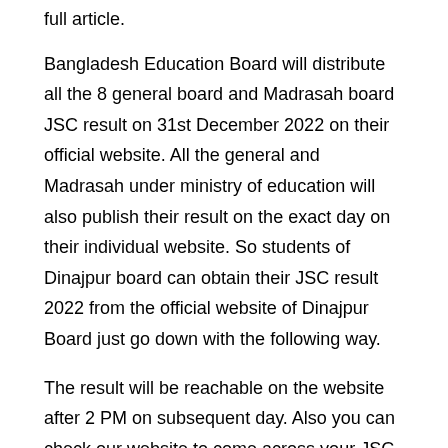full article.
Bangladesh Education Board will distribute all the 8 general board and Madrasah board JSC result on 31st December 2022 on their official website. All the general and Madrasah under ministry of education will also publish their result on the exact day on their individual website. So students of Dinajpur board can obtain their JSC result 2022 from the official website of Dinajpur Board just go down with the following way.
The result will be reachable on the website after 2 PM on subsequent day. Also you can check our website to come across your JSC result 2022 Dinajpur board very quick through our best ever result link service.
JSC Result 2022 BD All Education Board
JSC Result 2022 Rajshahi Board